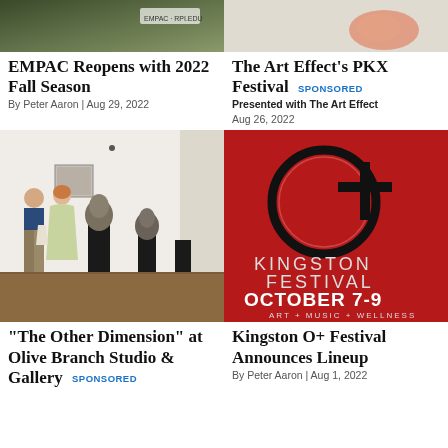[Figure (photo): Top cropped image of outdoor scene, EMPAC article thumbnail]
EMPAC Reopens with 2022 Fall Season
By Peter Aaron | Aug 29, 2022
[Figure (photo): Top cropped image with colorful object, Art Effect PKX Festival thumbnail]
The Art Effect's PKX Festival SPONSORED
Presented with The Art Effect Aug 26, 2022
[Figure (photo): Gallery interior with two people viewing sculpture busts on pedestals]
“The Other Dimension” at Olive Branch Studio & Gallery SPONSORED
[Figure (illustration): Red background promotional image for Kingston O+ Festival, October 7-9, Art + Music + Wellness]
Kingston O+ Festival Announces Lineup
By Peter Aaron | Aug 1, 2022